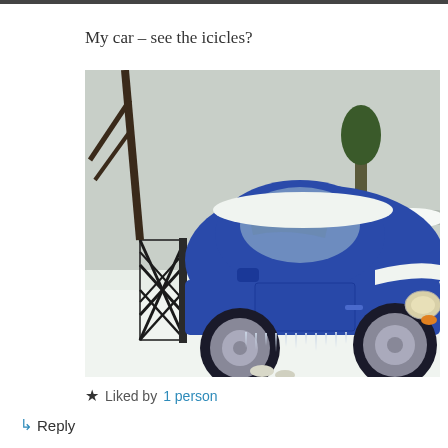[Figure (photo): A dark strip at the very top of the page, likely the bottom edge of a previous image.]
My car – see the icicles?
[Figure (photo): A blue Volkswagen Beetle covered in snow with icicles hanging from the door sills, parked in a snow-covered driveway next to a dark lattice fence. Trees visible in background. Another snow-covered car partially visible on the right.]
★ Liked by 1 person
↳ Reply